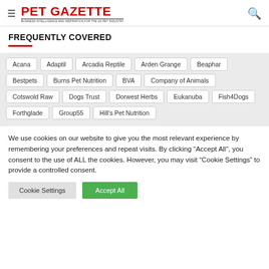PET GAZETTE
FREQUENTLY COVERED
Acana
Adaptil
Arcadia Reptile
Arden Grange
Beaphar
Bestpets
Burns Pet Nutrition
BVA
Company of Animals
Cotswold Raw
Dogs Trust
Dorwest Herbs
Eukanuba
Fish4Dogs
Forthglade
Group55
Hill's Pet Nutrition
We use cookies on our website to give you the most relevant experience by remembering your preferences and repeat visits. By clicking “Accept All”, you consent to the use of ALL the cookies. However, you may visit “Cookie Settings” to provide a controlled consent.